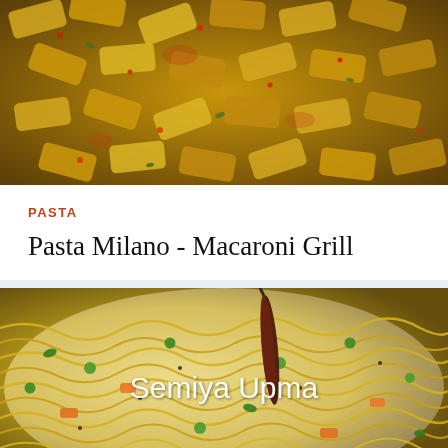[Figure (photo): Close-up photo of penne pasta with herbs, spices and red chili flakes in a golden/orange sauce]
PASTA
Pasta Milano - Macaroni Grill
[Figure (photo): Photo of Semiya Upma dish - vermicelli noodles with vegetables including carrots, peas, and a dried red chili pepper, with text 'Semiya Upma' overlaid in white]